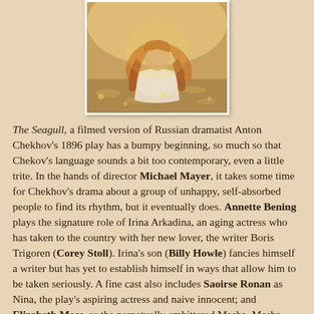[Figure (photo): A young woman with long flowing reddish-blonde hair seen from behind, wearing a light-colored blouse, outdoors near water with warm golden light.]
The Seagull, a filmed version of Russian dramatist Anton Chekhov's 1896 play has a bumpy beginning, so much so that Chekov's language sounds a bit too contemporary, even a little trite. In the hands of director Michael Mayer, it takes some time for Chekhov's drama about a group of unhappy, self-absorbed people to find its rhythm, but it eventually does. Annette Bening plays the signature role of Irina Arkadina, an aging actress who has taken to the country with her new lover, the writer Boris Trigoren (Corey Stoll). Irina's son (Billy Howle) fancies himself a writer but has yet to establish himself in ways that allow him to be taken seriously. A fine cast also includes Saoirse Ronan as Nina, the play's aspiring actress and naive innocent; and Elizabeth Moss, as the perpetually embittered Masha. Masha always wears black because, she says, the color matches her life. Mayer's adaptation works in fits and starts, but if you're interested in the way a new group of actors approach